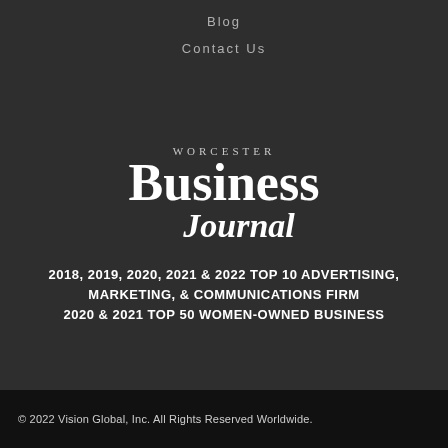Blog
Contact Us
[Figure (logo): Worcester Business Journal logo — 'WORCESTER' in small caps above 'Business' in large serif bold, and 'Journal' below in italic serif bold, all in white on dark background.]
2018, 2019, 2020, 2021 & 2022 TOP 10 ADVERTISING, MARKETING, & COMMUNICATIONS FIRM
2020 & 2021 TOP 50 WOMEN-OWNED BUSINESS
© 2022 Vision Global, Inc. All Rights Reserved Worldwide.